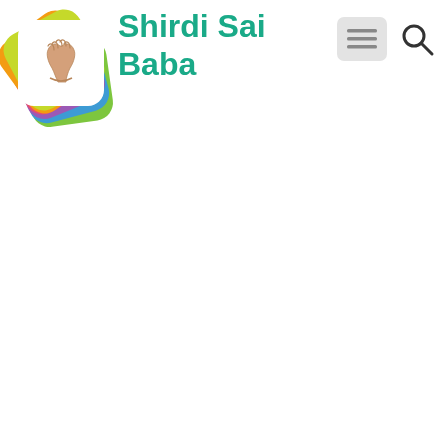[Figure (logo): Colorful rainbow-gradient rounded square app icon with praying hands symbol, logo for Shirdi Sai Baba website]
Shirdi Sai Baba
[Figure (other): Hamburger menu button (three horizontal lines) with light gray rounded rectangle background]
[Figure (other): Search magnifying glass icon]